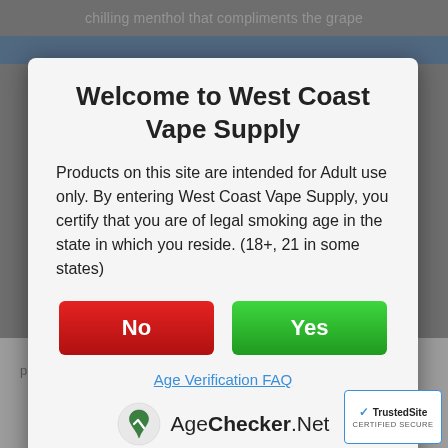Welcome to West Coast Vape Supply
Products on this site are intended for Adult use only. By entering West Coast Vape Supply, you certify that you are of legal smoking age in the state in which you reside. (18+, 21 in some states)
No
Yes
Age Verification FAQ
[Figure (logo): AgeChecker.Net logo with stylized A mark and text 'AgeChecker.Net']
pure bliss with its sweet flavor and chilling
[Figure (logo): TrustedSite Certified Secure badge]